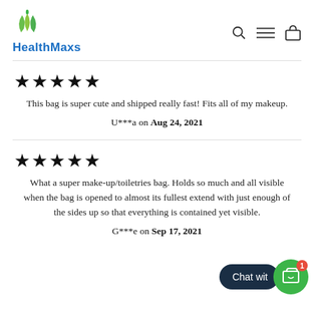HealthMaxs
★★★★★
This bag is super cute and shipped really fast! Fits all of my makeup.
U***a on Aug 24, 2021
★★★★★
What a super make-up/toiletries bag. Holds so much and all visible when the bag is opened to almost its fullest extend with just enough of the sides up so that everything is contained yet visible.
G***e on Sep 17, 2021